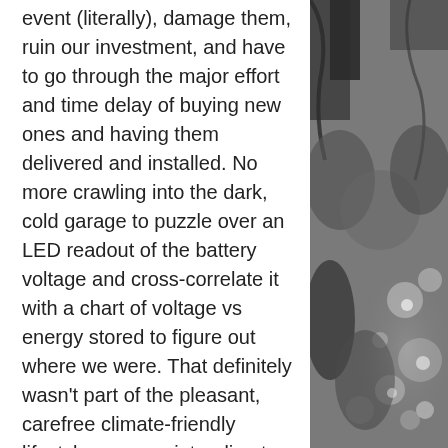event (literally), damage them, ruin our investment, and have to go through the major effort and time delay of buying new ones and having them delivered and installed. No more crawling into the dark, cold garage to puzzle over an LED readout of the battery voltage and cross-correlate it with a chart of voltage vs energy stored to figure out where we were. That definitely wasn't part of the pleasant, carefree climate-friendly lifestyle we were intending to create here! The new batteries and inverter came with an online app that allows us to see exactly what the energy stored in the Li ion batteries is, from the comfort of our chairs or from anywhere. And there is a beep that alerts us when we go to backup power and another that
[Figure (photo): Grayscale photo of foliage/plants with bokeh background, occupying the right column of the page]